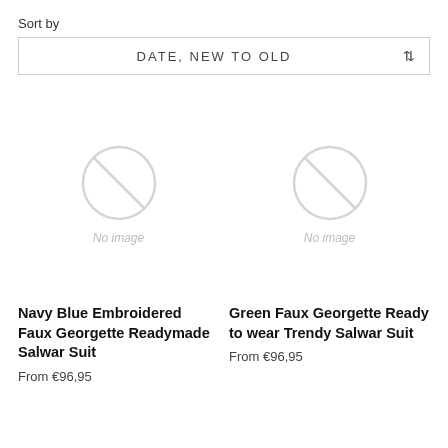Sort by
DATE, NEW TO OLD
[Figure (other): No image placeholder circle with diagonal line and text 'No image' for Navy Blue Embroidered Faux Georgette product]
Navy Blue Embroidered Faux Georgette Readymade Salwar Suit
From €96,95
[Figure (other): No image placeholder circle with diagonal line and text 'No image' for Green Faux Georgette product]
Green Faux Georgette Ready to wear Trendy Salwar Suit
From €96,95